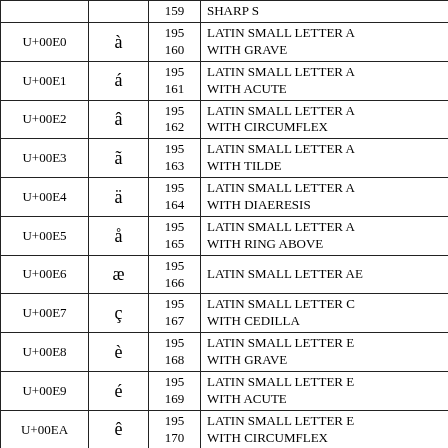| Unicode | Glyph | Bytes | Name |
| --- | --- | --- | --- |
|  |  | 159 | SHARP S |
| U+00E0 | à | 195
160 | LATIN SMALL LETTER A WITH GRAVE |
| U+00E1 | á | 195
161 | LATIN SMALL LETTER A WITH ACUTE |
| U+00E2 | â | 195
162 | LATIN SMALL LETTER A WITH CIRCUMFLEX |
| U+00E3 | ã | 195
163 | LATIN SMALL LETTER A WITH TILDE |
| U+00E4 | ä | 195
164 | LATIN SMALL LETTER A WITH DIAERESIS |
| U+00E5 | å | 195
165 | LATIN SMALL LETTER A WITH RING ABOVE |
| U+00E6 | æ | 195
166 | LATIN SMALL LETTER AE |
| U+00E7 | ç | 195
167 | LATIN SMALL LETTER C WITH CEDILLA |
| U+00E8 | è | 195
168 | LATIN SMALL LETTER E WITH GRAVE |
| U+00E9 | é | 195
169 | LATIN SMALL LETTER E WITH ACUTE |
| U+00EA | ê | 195
170 | LATIN SMALL LETTER E WITH CIRCUMFLEX |
|  |  | 195 | LATIN SMALL LETTER E... |